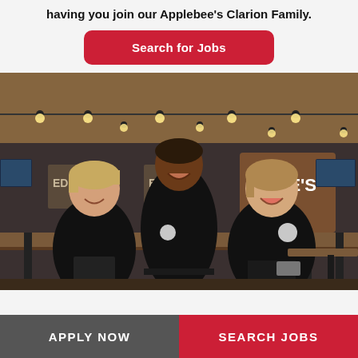having you join our Applebee's Clarion Family.
Search for Jobs
[Figure (photo): Three Applebee's restaurant staff in black uniforms laughing together inside an Applebee's restaurant. Background shows the restaurant interior with track lighting, wood paneling, bar seating, and TV screens.]
APPLY NOW
SEARCH JOBS